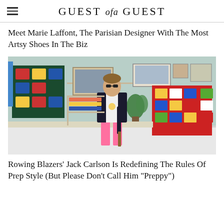GUEST of a GUEST
Meet Marie Laffont, The Parisian Designer With The Most Artsy Shoes In The Biz
[Figure (photo): A man wearing sunglasses, a dark jacket, white shirt, and bright pink trousers stands in a colorful shop or studio. Behind him are framed artworks of rugby/rowing jerseys on the walls and shelves with folded clothing.]
Rowing Blazers' Jack Carlson Is Redefining The Rules Of Prep Style (But Please Don't Call Him "Preppy")